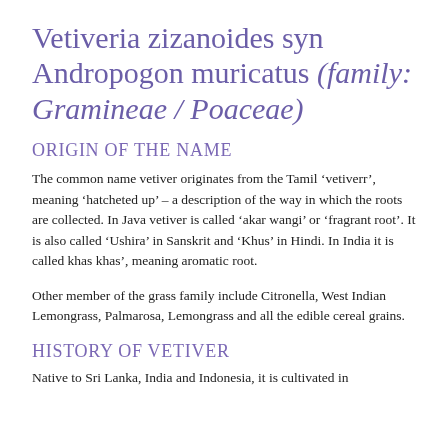Vetiveria zizanoides syn Andropogon muricatus (family: Gramineae / Poaceae)
ORIGIN OF THE NAME
The common name vetiver originates from the Tamil ‘vetiverr’, meaning ‘hatcheted up’ – a description of the way in which the roots are collected. In Java vetiver is called ‘akar wangi’ or ‘fragrant root’. It is also called ‘Ushira’ in Sanskrit and ‘Khus’ in Hindi. In India it is called khas khas’, meaning aromatic root.
Other member of the grass family include Citronella, West Indian Lemongrass, Palmarosa, Lemongrass and all the edible cereal grains.
HISTORY OF VETIVER
Native to Sri Lanka, India and Indonesia, it is cultivated in